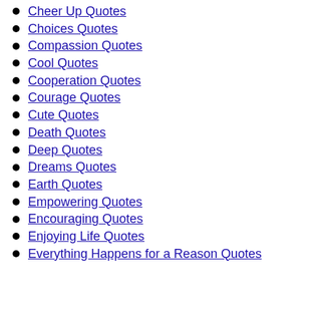Cheer Up Quotes
Choices Quotes
Compassion Quotes
Cool Quotes
Cooperation Quotes
Courage Quotes
Cute Quotes
Death Quotes
Deep Quotes
Dreams Quotes
Earth Quotes
Empowering Quotes
Encouraging Quotes
Enjoying Life Quotes
Everything Happens for a Reason Quotes